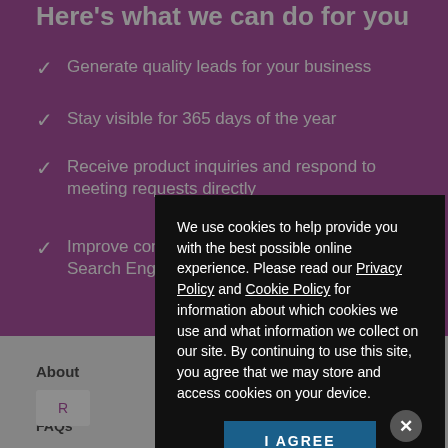Here's what we can do for you
Generate quality leads for your business
Stay visible for 365 days of the year
Receive product inquiries and respond to meeting requests directly
Improve company online presence through Search Engine Optimisation
We use cookies to help provide you with the best possible online experience. Please read our Privacy Policy and Cookie Policy for information about which cookies we use and what information we collect on our site. By continuing to use this site, you agree that we may store and access cookies on your device.
I AGREE
About
Subscri
FAQs